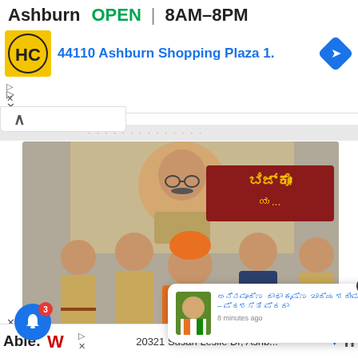[Figure (screenshot): Ad banner showing HC logo, Ashburn location OPEN 8AM-8PM, 44110 Ashburn Shopping Plaza 1., navigation diamond icon]
[Figure (photo): Group photo of people including police officers in khaki uniforms and a man seated in the center wearing an orange turban and saffron clothing, in front of a banner with Kannada text and a large portrait]
[Figure (screenshot): Notification popup with avatar photo of a man in white shirt with Indian flag colors sash, Kannada text headline, and '8 minutes ago' timestamp]
[Figure (screenshot): Bottom ad bar with Walgreens W logo, address '20321 Susan Leslie Dr, Ashb...' and navigation arrow]
Ashburn  OPEN  8AM–8PM
44110 Ashburn Shopping Plaza 1.
8 minutes ago
20321 Susan Leslie Dr, Ashb...
Able.
n